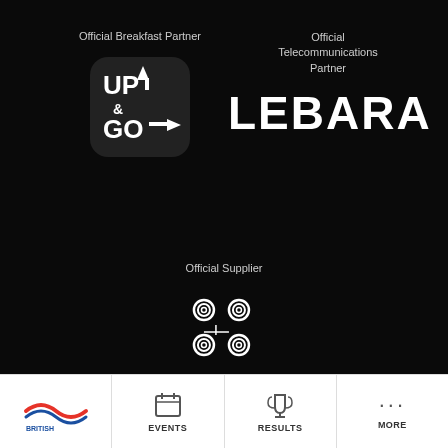Official Breakfast Partner
[Figure (logo): Up & Go logo — white UP& GO text on dark rounded square background]
Official Telecommunications Partner
[Figure (logo): LEBARA logo in large bold white text]
Official Supplier
[Figure (logo): Healthspan decorative spiral knot logo in white outline]
healthspan
[Figure (logo): British Swimming logo with red and blue wave]
EVENTS
RESULTS
MORE